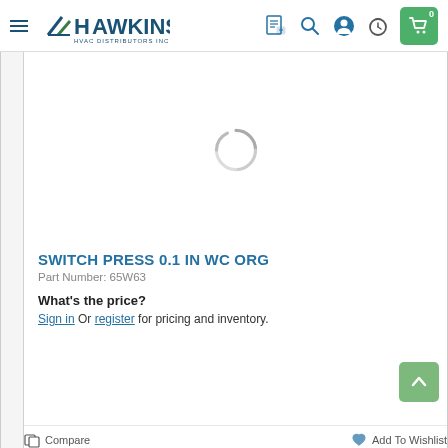Hawkins HVAC Distributors Inc. — navigation header with logo, hamburger menu, search, account, clock, and cart icons
[Figure (screenshot): Loading spinner (circular arc) indicating product image is loading]
SWITCH PRESS 0.1 IN WC ORG
Part Number: 65W63
What's the price?
Sign in Or register for pricing and inventory.
Compare    Add To Wishlist